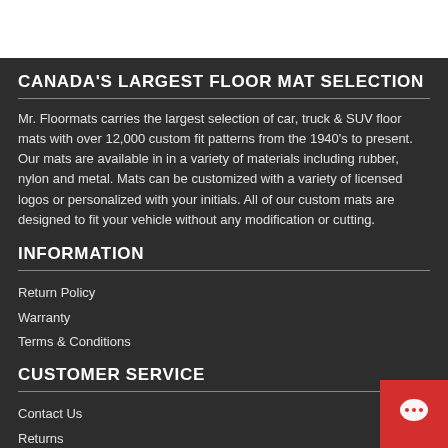CANADA'S LARGEST FLOOR MAT SELECTION
Mr. Floormats carries the largest selection of car, truck & SUV floor mats with over 12,000 custom fit patterns from the 1940's to present. Our mats are available in in a variety of materials including rubber, nylon and metal. Mats can be customized with a variety of licensed logos or personalized with your initials. All of our custom mats are designed to fit your vehicle without any modification or cutting.
INFORMATION
Return Policy
Warranty
Terms & Conditions
CUSTOMER SERVICE
Contact Us
Returns